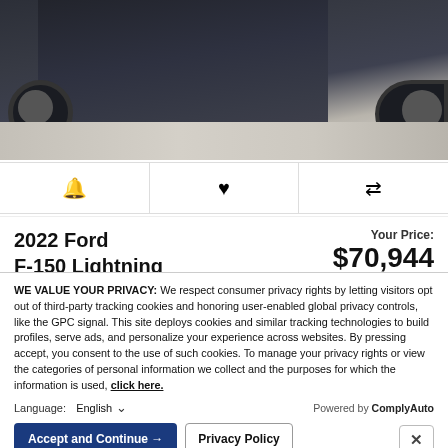[Figure (photo): Overhead/aerial view of a dark-colored Ford F-150 Lightning truck, showing the hood and front wheels from above, on a light pavement surface.]
🔔  ♥  ⇄
2022 Ford F-150 Lightning
Stock: 22T231
Your Price: $70,944
Finance For: $9... close
[Figure (screenshot): Blurred bottom section showing thumbnail image, avatar, and blurred text lines partially visible behind privacy overlay.]
WE VALUE YOUR PRIVACY: We respect consumer privacy rights by letting visitors opt out of third-party tracking cookies and honoring user-enabled global privacy controls, like the GPC signal. This site deploys cookies and similar tracking technologies to build profiles, serve ads, and personalize your experience across websites. By pressing accept, you consent to the use of such cookies. To manage your privacy rights or view the categories of personal information we collect and the purposes for which the information is used, click here.
Language:   English  ∨     Powered by ComplyAuto
Accept and Continue →   Privacy Policy   ✕